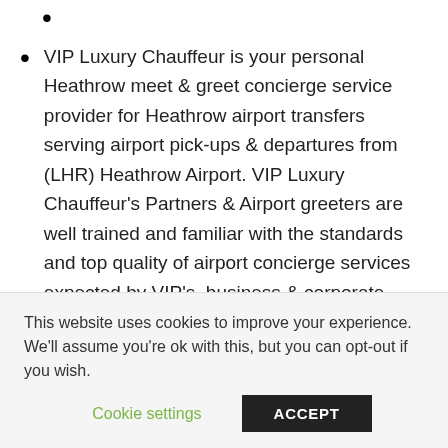•
VIP Luxury Chauffeur is your personal Heathrow meet & greet concierge service provider for Heathrow airport transfers serving airport pick-ups & departures from (LHR) Heathrow Airport. VIP Luxury Chauffeur's Partners & Airport greeters are well trained and familiar with the standards and top quality of airport concierge services expected by VIP's, business & corporate companies & our clientele. Brighton Airport Taxi delivers professional and exclusive Heathrow Airport meet & greet concierge agent/ greeter service & assistance for Heathrow Airport transfers serving
This website uses cookies to improve your experience. We'll assume you're ok with this, but you can opt-out if you wish.
Cookie settings   ACCEPT